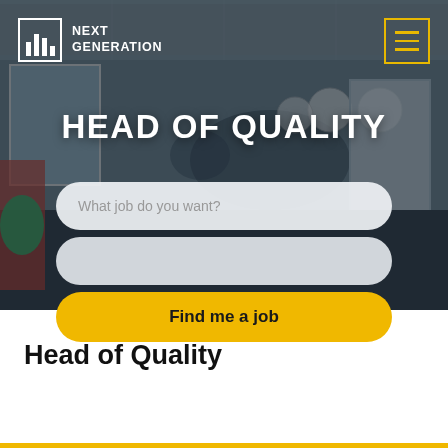[Figure (photo): Office interior background with clocks on wall, reception area, dark overlay. Next Generation recruitment agency website screenshot.]
NEXT GENERATION
HEAD OF QUALITY
What job do you want?
Find me a job
Head of Quality